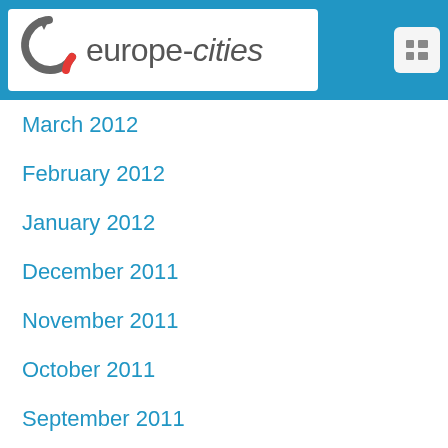[Figure (logo): europe-cities website logo with circular arrow icon in grey and red, white background]
March 2012
February 2012
January 2012
December 2011
November 2011
October 2011
September 2011
August 2011
May 2011
April 2011